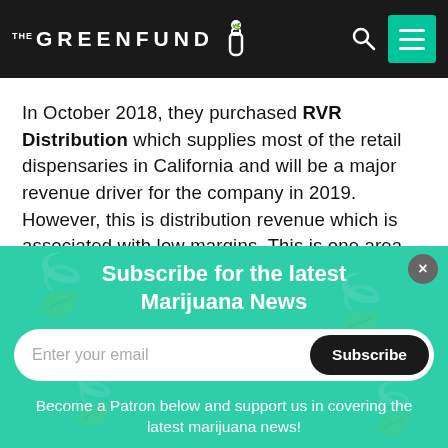THE GREENFUND
In October 2018, they purchased RVR Distribution which supplies most of the retail dispensaries in California and will be a major revenue driver for the company in 2019. However, this is distribution revenue which is associated with low margins. This is one area
Subscribe for the latest Marijuana News
Enter your email
Subscribe
Become a Patron below and support us in covering the latest marijuana news!
Become a patron